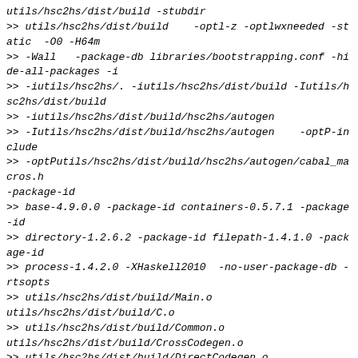utils/hsc2hs/dist/build -stubdir
>> utils/hsc2hs/dist/build    -optl-z -optlwxneeded -static  -O0 -H64m
>> -Wall   -package-db libraries/bootstrapping.conf -hide-all-packages -i
>> -iutils/hsc2hs/. -iutils/hsc2hs/dist/build -Iutils/hsc2hs/dist/build
>> -iutils/hsc2hs/dist/build/hsc2hs/autogen
>> -Iutils/hsc2hs/dist/build/hsc2hs/autogen    -optP-include
>> -optPutils/hsc2hs/dist/build/hsc2hs/autogen/cabal_macros.h -package-id
>> base-4.9.0.0 -package-id containers-0.5.7.1 -package-id
>> directory-1.2.6.2 -package-id filepath-1.4.1.0 -package-id
>> process-1.4.2.0 -XHaskell2010  -no-user-package-db -rtsopts
>> utils/hsc2hs/dist/build/Main.o
utils/hsc2hs/dist/build/C.o
>> utils/hsc2hs/dist/build/Common.o
utils/hsc2hs/dist/build/CrossCodegen.o
>> utils/hsc2hs/dist/build/DirectCodegen.o
utils/hsc2hs/dist/build/Flags.o
>> utils/hsc2hs/dist/build/HSCParser.o
>> utils/hsc2hs/dist/build/UtilsCodegen.o
>> utils/hsc2hs/dist/build/Paths_hsc2hs.o
>>
>> <no location info>: error:
>> Warning: Couldn't figure out linker